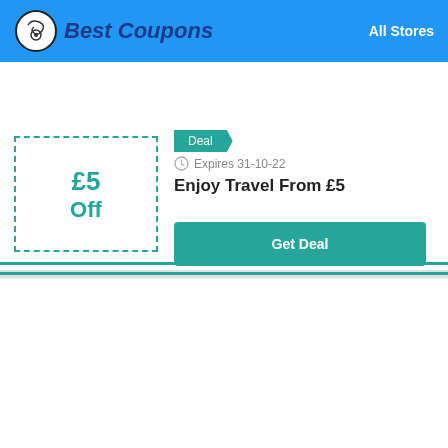Best Coupons | All Stores
Deal
Expires 31-10-22
£5 Off
Enjoy Travel From £5
Get Deal
Deal
Expires 31-10-22
70% Off
70% OFF All Storewide Products
Get Deal